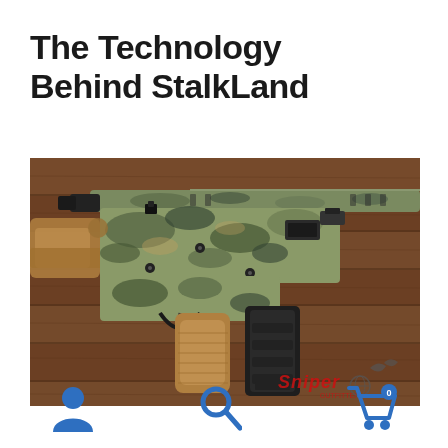The Technology Behind StalkLand
[Figure (photo): Close-up photograph of an AR-style rifle with camouflage finish (green/tan Kryptek-style pattern) placed on a wooden surface. The rifle features a tan pistol grip, black magazine, suppressor/muzzle device, and a keymod handguard. A watermark reading 'Sniper' is visible in the lower right corner of the image.]
[Figure (illustration): Three navigation icons at the bottom of the page: a user/person icon on the left, a search/magnifying glass icon in the center, and a shopping cart icon with a badge showing '0' on the right. All icons are blue (#2e6fc0).]